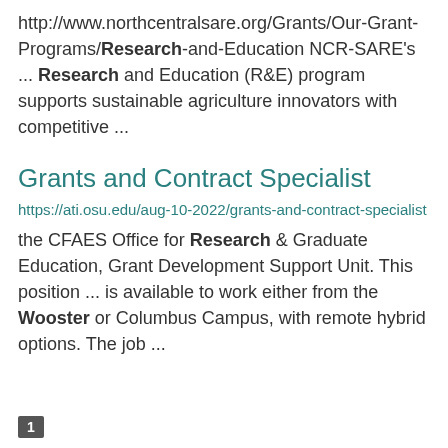http://www.northcentralsare.org/Grants/Our-Grant-Programs/Research-and-Education NCR-SARE's ... Research and Education (R&E) program supports sustainable agriculture innovators with competitive ...
Grants and Contract Specialist
https://ati.osu.edu/aug-10-2022/grants-and-contract-specialist
the CFAES Office for Research & Graduate Education, Grant Development Support Unit. This position ... is available to work either from the Wooster or Columbus Campus, with remote hybrid options. The job ...
1